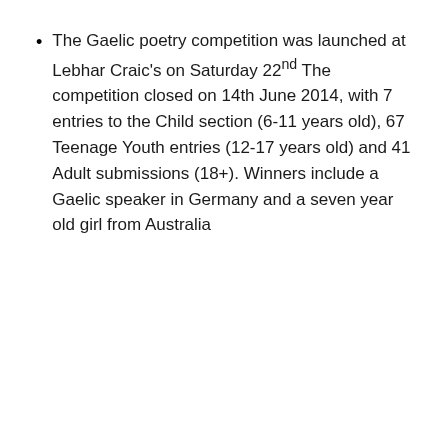The Gaelic poetry competition was launched at Lebhar Craic's on Saturday 22nd The competition closed on 14th June 2014, with 7 entries to the Child section (6-11 years old), 67 Teenage Youth entries (12-17 years old) and 41 Adult submissions (18+). Winners include a Gaelic speaker in Germany and a seven year old girl from Australia